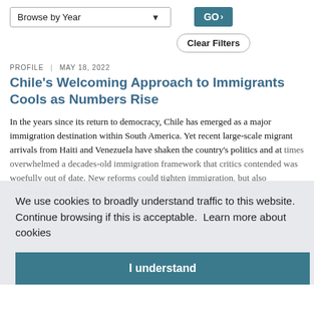Browse by Year [dropdown]
GO
Clear Filters
PROFILE | MAY 18, 2022
Chile’s Welcoming Approach to Immigrants Cools as Numbers Rise
In the years since its return to democracy, Chile has emerged as a major immigration destination within South America. Yet recent large-scale migrant arrivals from Haiti and Venezuela have shaken the country’s politics and at times overwhelmed a decades-old immigration framework that critics contended was woefully out of date. New reforms could tighten immigration, but also potentially expand legal migration pathways to Chile particularly for...
We use cookies to broadly understand traffic to this website. Continue browsing if this is acceptable.  Learn more about cookies
I understand
France Reckons with Immigration Amid Reality of Rising Far Right
Over recent decades, France has sought to build a more selective immigration